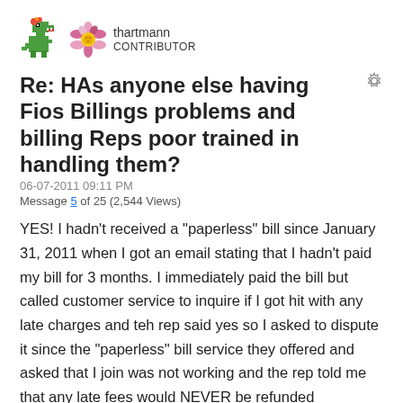[Figure (illustration): User avatar icons: a pixel-art dinosaur and a flower/floral decoration]
thartmann
CONTRIBUTOR
Re: HAs anyone else having Fios Billings problems and billing Reps poor trained in handling them?
06-07-2011 09:11 PM
Message 5 of 25 (2,544 Views)
YES!  I hadn't received a "paperless" bill since January 31, 2011 when I got an email stating that I hadn't paid my bill for 3 months.  I immediately paid the bill but called customer service to inquire if I got hit with any late charges and teh rep said yes so I asked to dispute it since the "paperless" bill service they offered and asked that I join was not working and the rep told me that any late fees would NEVER be refunded regardless of the